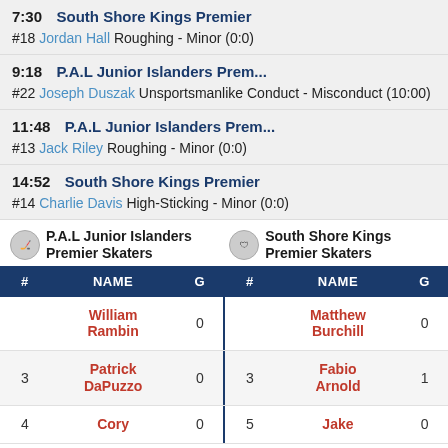7:30 South Shore Kings Premier
#18 Jordan Hall Roughing - Minor (0:0)
9:18 P.A.L Junior Islanders Prem...
#22 Joseph Duszak Unsportsmanlike Conduct - Misconduct (10:00)
11:48 P.A.L Junior Islanders Prem...
#13 Jack Riley Roughing - Minor (0:0)
14:52 South Shore Kings Premier
#14 Charlie Davis High-Sticking - Minor (0:0)
P.A.L Junior Islanders Premier Skaters    South Shore Kings Premier Skaters
| # | NAME | G | # | NAME | G |
| --- | --- | --- | --- | --- | --- |
|  | William Rambin | 0 |  | Matthew Burchill | 0 |
| 3 | Patrick DaPuzzo | 0 | 3 | Fabio Arnold | 1 |
| 4 | Cory ... | 0 | 5 | Jake ... | 0 |